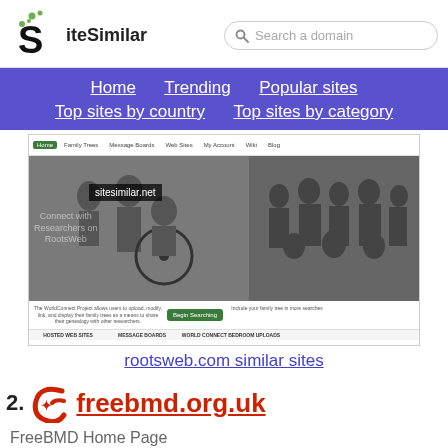[Figure (logo): SiteSimilar logo with stylized S and green dots]
[Figure (screenshot): Screenshot of rootsweb.com website showing genealogy photos and navigation]
rootsweb.com similar sites
2. freebmd.org.uk
FreeBMD Home Page